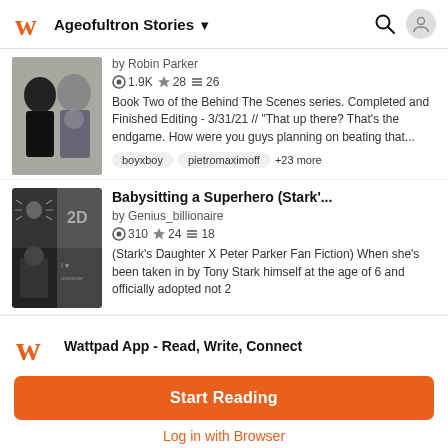Ageofultron Stories
by Robin Parker
1.9K ★28 ≡26
Book Two of the Behind The Scenes series. Completed and Finished Editing - 3/31/21 // "That up there? That's the endgame. How were you guys planning on beating that...
boyxboy
pietromaximoff
+23 more
Babysitting a Superhero (Stark'...
by Genius_billionaire
310 ★24 ≡18
(Stark's Daughter X Peter Parker Fan Fiction) When she's been taken in by Tony Stark himself at the age of 6 and officially adopted not 2
Wattpad App - Read, Write, Connect
Start Reading
Log in with Browser